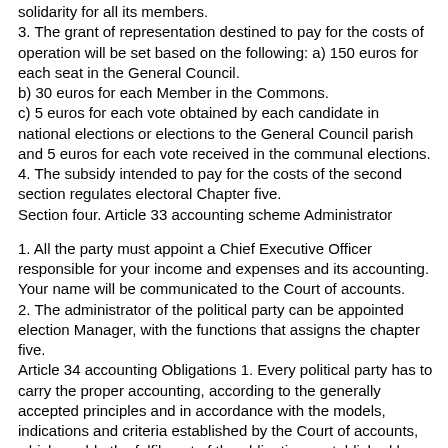solidarity for all its members.
3. The grant of representation destined to pay for the costs of operation will be set based on the following: a) 150 euros for each seat in the General Council.
b) 30 euros for each Member in the Commons.
c) 5 euros for each vote obtained by each candidate in national elections or elections to the General Council parish and 5 euros for each vote received in the communal elections.
4. The subsidy intended to pay for the costs of the second section regulates electoral Chapter five.
Section four. Article 33 accounting scheme Administrator
1. All the party must appoint a Chief Executive Officer responsible for your income and expenses and its accounting. Your name will be communicated to the Court of accounts.
2. The administrator of the political party can be appointed election Manager, with the functions that assigns the chapter five.
Article 34 accounting Obligations 1. Every political party has to carry the proper accounting, according to the generally accepted principles and in accordance with the models, indications and criteria established by the Court of accounts, which enable the fulfilment of the obligations established by